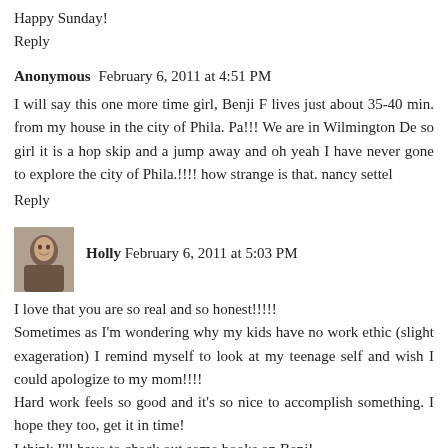Happy Sunday!
Reply
Anonymous  February 6, 2011 at 4:51 PM
I will say this one more time girl, Benji F lives just about 35-40 min. from my house in the city of Phila. Pa!!! We are in Wilmington De so girl it is a hop skip and a jump away and oh yeah I have never gone to explore the city of Phila.!!!! how strange is that. nancy settel
Reply
[Figure (photo): Small avatar photo of Holly, showing a person with dark hair]
Holly  February 6, 2011 at 5:03 PM
I love that you are so real and so honest!!!!!
Sometimes as I'm wondering why my kids have no work ethic (slight exageration) I remind myself to look at my teenage self and wish I could apologize to my mom!!!!
Hard work feels so good and it's so nice to accomplish something. I hope they too, get it in time!
I think I'll have to check out some books on Benj!